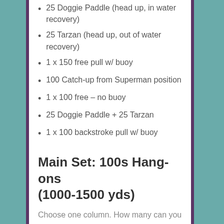25 Doggie Paddle (head up, in water recovery)
25 Tarzan (head up, out of water recovery)
1 x 150 free pull w/ buoy
100 Catch-up from Superman position
1 x 100 free – no buoy
25 Doggie Paddle + 25 Tarzan
1 x 100 backstroke pull w/ buoy
Main Set: 100s Hang-ons (1000-1500 yds)
Choose one column. How many can you do? Sit out a repeat if you need to.